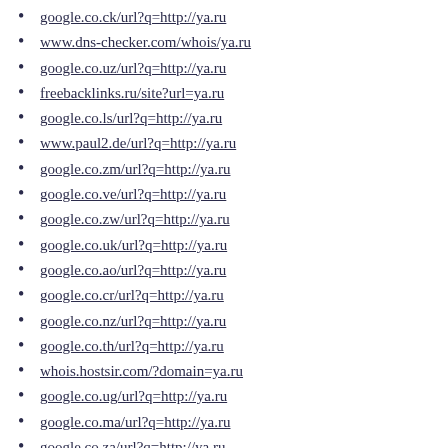google.co.ck/url?q=http://ya.ru
www.dns-checker.com/whois/ya.ru
google.co.uz/url?q=http://ya.ru
freebacklinks.ru/site?url=ya.ru
google.co.ls/url?q=http://ya.ru
www.paul2.de/url?q=http://ya.ru
google.co.zm/url?q=http://ya.ru
google.co.ve/url?q=http://ya.ru
google.co.zw/url?q=http://ya.ru
google.co.uk/url?q=http://ya.ru
google.co.ao/url?q=http://ya.ru
google.co.cr/url?q=http://ya.ru
google.co.nz/url?q=http://ya.ru
google.co.th/url?q=http://ya.ru
whois.hostsir.com/?domain=ya.ru
google.co.ug/url?q=http://ya.ru
google.co.ma/url?q=http://ya.ru
google.co.za/url?q=http://ya.ru
google.co.kr/url?q=http://ya.ru